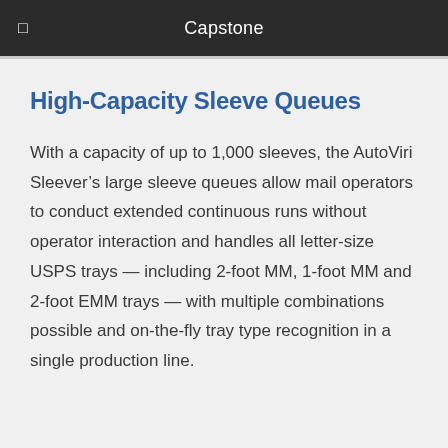Capstone
High-Capacity Sleeve Queues
With a capacity of up to 1,000 sleeves, the AutoViri Sleever’s large sleeve queues allow mail operators to conduct extended continuous runs without operator interaction and handles all letter-size USPS trays — including 2-foot MM, 1-foot MM and 2-foot EMM trays — with multiple combinations possible and on-the-fly tray type recognition in a single production line.